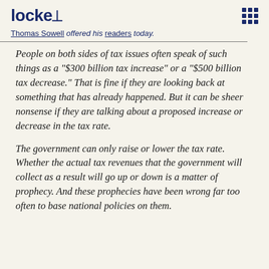locke
Thomas Sowell offered his readers today.
People on both sides of tax issues often speak of such things as a "$300 billion tax increase" or a "$500 billion tax decrease." That is fine if they are looking back at something that has already happened. But it can be sheer nonsense if they are talking about a proposed increase or decrease in the tax rate.
The government can only raise or lower the tax rate. Whether the actual tax revenues that the government will collect as a result will go up or down is a matter of prophecy. And these prophecies have been wrong far too often to base national policies on them.